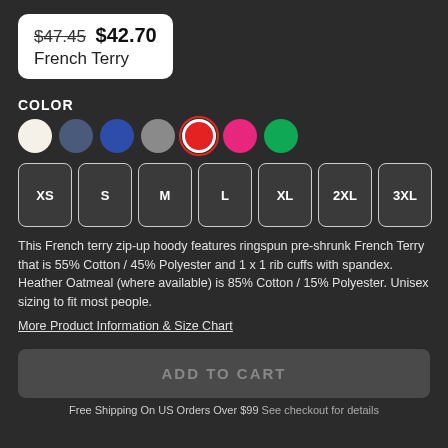$47.45 $42.70
French Terry
COLOR
[Figure (other): Color swatches: cream, navy, blue, gray, red (selected), pink, green]
[Figure (other): Size selector buttons: XS, S, M, L, XL, 2XL, 3XL]
This French terry zip-up hoody features ringspun pre-shrunk French Terry that is 55% Cotton / 45% Polyester and 1 x 1 rib cuffs with spandex. Heather Oatmeal (where available) is 85% Cotton / 15% Polyester. Unisex sizing to fit most people.
More Product Information & Size Chart
ADD TO CART
Free Shipping On US Orders Over $99 See checkout for details